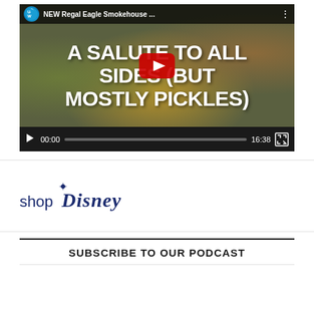[Figure (screenshot): YouTube video player showing a video titled 'NEW Regal Eagle Smokehouse...' with overlay text 'A SALUTE TO ALL SIDES (BUT MOSTLY PICKLES)' with a play button and controls bar showing time 00:00 / 16:38]
[Figure (logo): shopDisney logo in dark blue cursive lettering]
SUBSCRIBE TO OUR PODCAST